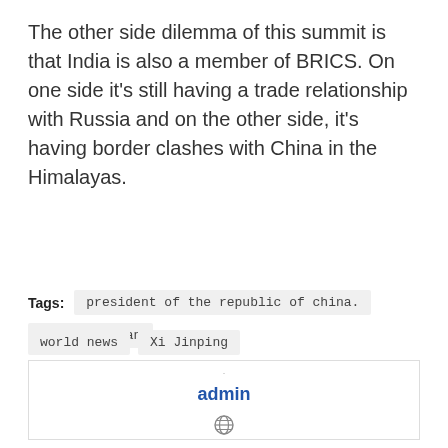The other side dilemma of this summit is that India is also a member of BRICS. On one side it's still having a trade relationship with Russia and on the other side, it's having border clashes with China in the Himalayas.
Tags: president of the republic of china.   The Hiltonian   world news   Xi Jinping
[Figure (illustration): Author profile card with a grey default avatar icon, bold blue 'admin' text, and a small globe icon below.]